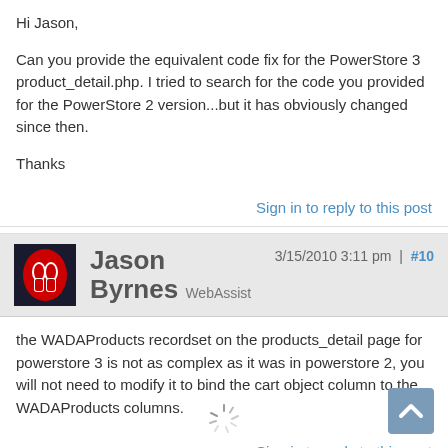Hi Jason,

Can you provide the equivalent code fix for the PowerStore 3 product_detail.php. I tried to search for the code you provided for the PowerStore 2 version...but it has obviously changed since then.

Thanks
Sign in to reply to this post
Jason Byrnes  WebAssist  3/15/2010 3:11 pm | #10
the WADAProducts recordset on the products_detail page for powerstore 3 is not as complex as it was in powerstore 2, you will not need to modify it to bind the cart object column to the WADAProducts columns.
Sign in to reply to this post